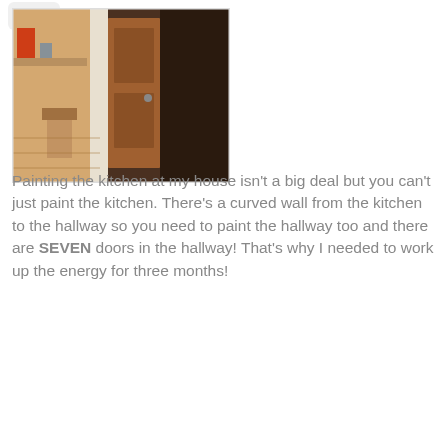[Figure (photo): Indoor hallway photo showing a wooden door ajar, with warm lighting, a chair visible in background, and hardwood flooring]
Painting the kitchen at my house isn't a big deal but you can't just paint the kitchen. There's a curved wall from the kitchen to the hallway so you need to paint the hallway too and there are SEVEN doors in the hallway! That's why I needed to work up the energy for three months!